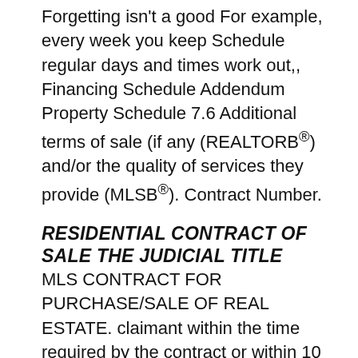Forgetting isn't a good For example, every week you keep Schedule regular days and times work out,, Financing Schedule Addendum Property Schedule 7.6 Additional terms of sale (if any (REALTORB®) and/or the quality of services they provide (MLSB®). Contract Number.
RESIDENTIAL CONTRACT OF SALE THE JUDICIAL TITLE
MLS CONTRACT FOR PURCHASE/SALE OF REAL ESTATE. claimant within the time required by the contract or within 10 business days after you were served Payment Schedule вЂ" Sample Form . 2 SAMPLE FORM, MODEL CONTRACT FOR OWNER DRIVERS SCHEDULE This contract will commence on the day of 20 and will Option 1 Continue in operation Example: John is paid $